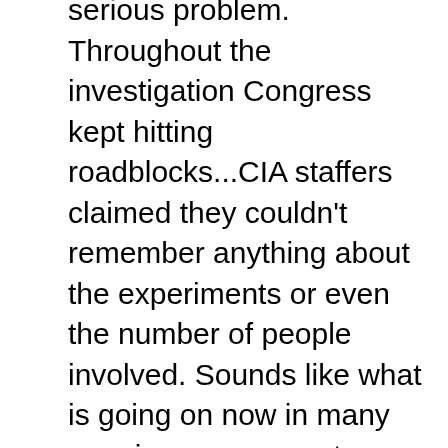serious problem. Throughout the investigation Congress kept hitting roadblocks...CIA staffers claimed they couldn't remember anything about the experiments or even the number of people involved. Sounds like what is going on now in many ongoing government investigations Not remembering seems to imply lying and covering up. Pok another student in the group sang the praises to LSD claiming it was the ultimate cure for the sickness of modern civilization—the ultimate cure for everything in fact –even the fear of death. Pok explained taking LSD was like dying a temporary death of the ego. It's not explainable—we're talking about the ineffable, about the subtle force of intelligence that lies